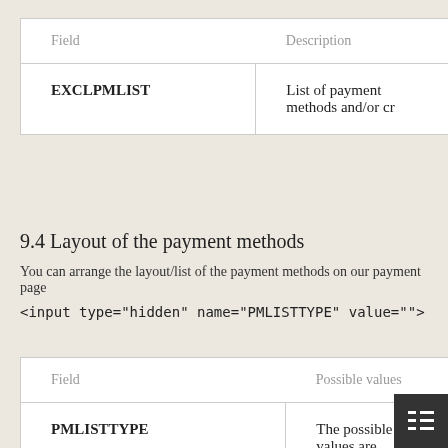| Field | Description |
| --- | --- |
| EXCLPMLIST | List of payment methods and/or cr |
9.4 Layout of the payment methods
You can arrange the layout/list of the payment methods on our payment page
<input type="hidden" name="PMLISTTYPE" value="">
| Field | Possible values |
| --- | --- |
| PMLISTTYPE | The possible values are |